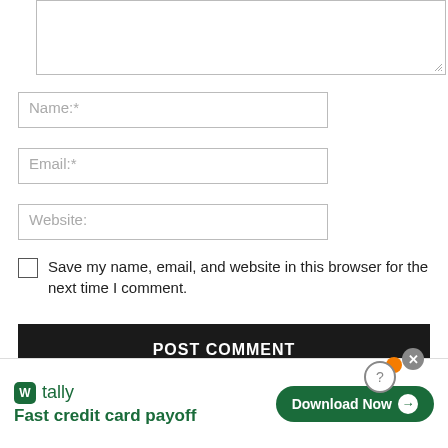[Figure (screenshot): Textarea input box (comment field) with resize handle at bottom-right]
Name:*
Email:*
Website:
Save my name, email, and website in this browser for the next time I comment.
POST COMMENT
[Figure (screenshot): Tally advertisement banner: 'Fast credit card payoff' with Download Now button and close/help icons]